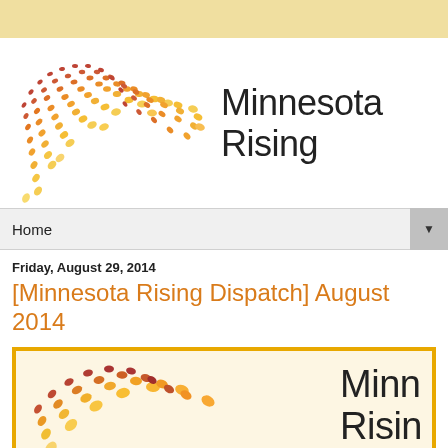[Figure (logo): Minnesota Rising logo with dotted arc/semicircle in orange-to-red gradient and text 'Minnesota Rising']
Home
Friday, August 29, 2014
[Minnesota Rising Dispatch] August 2014
[Figure (logo): Minnesota Rising logo repeated inside a yellow-bordered box (newsletter dispatch header image)]